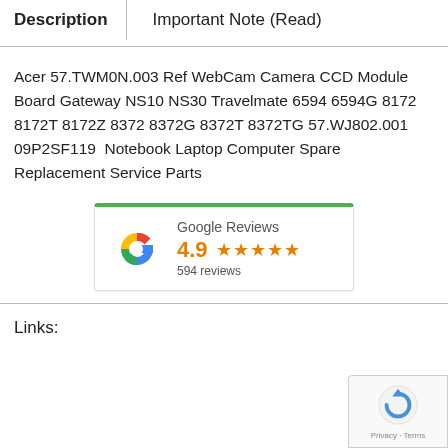| Description | Important Note (Read) |
| --- | --- |
Acer 57.TWM0N.003 Ref WebCam Camera CCD Module Board Gateway NS10 NS30 Travelmate 6594 6594G 8172 8172T 8172Z 8372 8372G 8372T 8372TG 57.WJ802.001 09P2SF119  Notebook Laptop Computer Spare Replacement Service Parts
[Figure (other): Google Reviews badge showing 4.9 rating with 5 stars and 594 reviews]
Links: